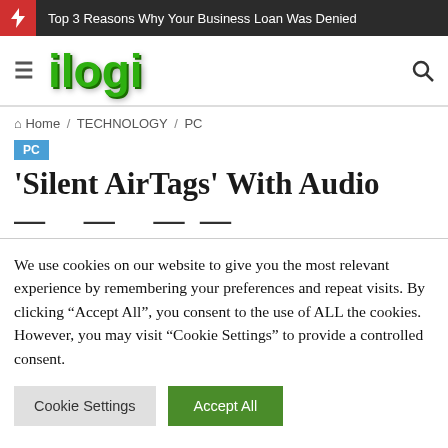Top 3 Reasons Why Your Business Loan Was Denied
[Figure (logo): ilogi website logo in green 3D text]
Home / TECHNOLOGY / PC
PC
'Silent AirTags' With Audio
We use cookies on our website to give you the most relevant experience by remembering your preferences and repeat visits. By clicking "Accept All", you consent to the use of ALL the cookies. However, you may visit "Cookie Settings" to provide a controlled consent.
Cookie Settings | Accept All